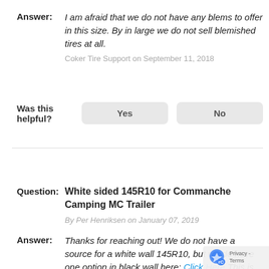Answer: I am afraid that we do not have any blems to offer in this size. By in large we do not sell blemished tires at all. Coker Tire Support on September 11, 2018
Was this helpful? Yes No
Question: White sided 145R10 for Commanche Camping MC Trailer By Per Henriksen on January 07, 2019
Answer: Thanks for reaching out! We do not have a source for a white wall 145R10, but we do have one option in black wall here: Click Here This is